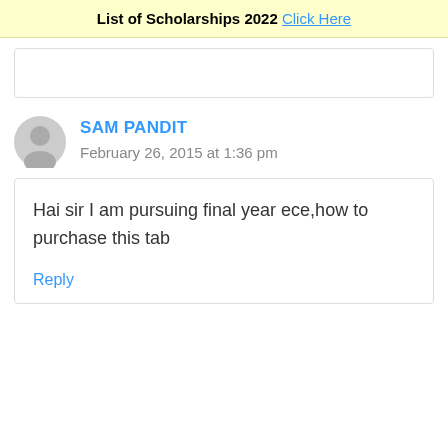List of Scholarships 2022 Click Here
SAM PANDIT
February 26, 2015 at 1:36 pm
Hai sir I am pursuing final year ece,how to purchase this tab
Reply